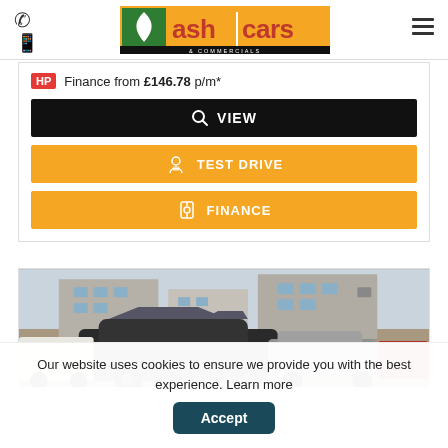Ash Cars & Commercials - header with phone, mobile icons and hamburger menu
Finance from £146.78 p/m*
VIEW
TEST DRIVE
FINANCE
[Figure (photo): Car dealership lot with multiple cars parked outside a building]
Our website uses cookies to ensure we provide you with the best experience. Learn more
Accept